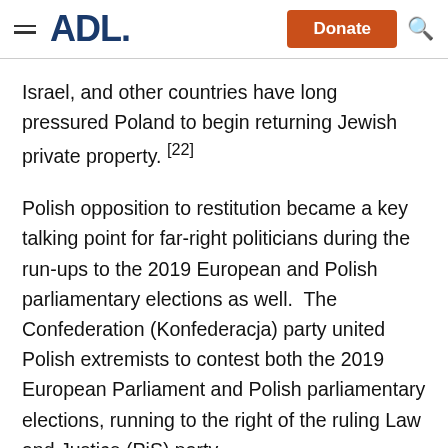ADL — Donate (navigation bar)
Israel, and other countries have long pressured Poland to begin returning Jewish private property. [22]
Polish opposition to restitution became a key talking point for far-right politicians during the run-ups to the 2019 European and Polish parliamentary elections as well.  The Confederation (Konfederacja) party united Polish extremists to contest both the 2019 European Parliament and Polish parliamentary elections, running to the right of the ruling Law and Justice (PiS) party.